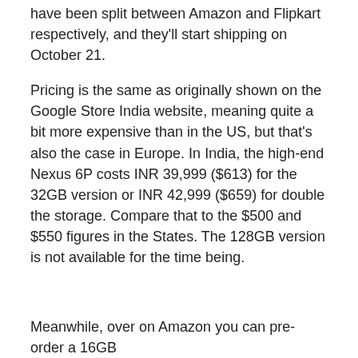have been split between Amazon and Flipkart respectively, and they'll start shipping on October 21.
Pricing is the same as originally shown on the Google Store India website, meaning quite a bit more expensive than in the US, but that's also the case in Europe. In India, the high-end Nexus 6P costs INR 39,999 ($613) for the 32GB version or INR 42,999 ($659) for double the storage. Compare that to the $500 and $550 figures in the States. The 128GB version is not available for the time being.
Meanwhile, over on Amazon you can pre-order a 16GB